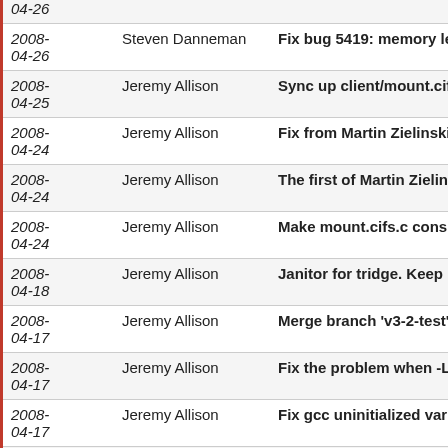| Date | Author | Message |
| --- | --- | --- |
| 04-26 |  |  |
| 2008-04-26 | Steven Danneman | Fix bug 5419: memory leak in... |
| 2008-04-25 | Jeremy Allison | Sync up client/mount.cifs.c w... |
| 2008-04-24 | Jeremy Allison | Fix from Martin Zielinski <mz... |
| 2008-04-24 | Jeremy Allison | The first of Martin Zielinski <... |
| 2008-04-24 | Jeremy Allison | Make mount.cifs.c consistent... |
| 2008-04-18 | Jeremy Allison | Janitor for tridge. Keep lib/re... |
| 2008-04-17 | Jeremy Allison | Merge branch 'v3-2-test' of ss... |
| 2008-04-17 | Jeremy Allison | Fix the problem when -L is us... |
| 2008-04-17 | Jeremy Allison | Fix gcc uninitialized variable... |
| 2008-04-12 | Jeremy Allison | Merge branch 'v3-2-test' of ss... |
| 2008- | Jeremy Allison | Fix bug #5386, don't keep pri... |